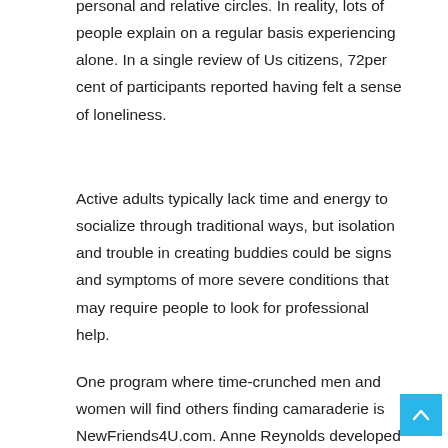personal and relative circles. In reality, lots of people explain on a regular basis experiencing alone. In a single review of Us citizens, 72per cent of participants reported having felt a sense of loneliness.
Active adults typically lack time and energy to socialize through traditional ways, but isolation and trouble in creating buddies could be signs and symptoms of more severe conditions that may require people to look for professional help.
One program where time-crunched men and women will find others finding camaraderie is NewFriends4U.com. Anne Reynolds developed the site to help people get a hold of pals, activity lovers, and pen pals â     including romance.